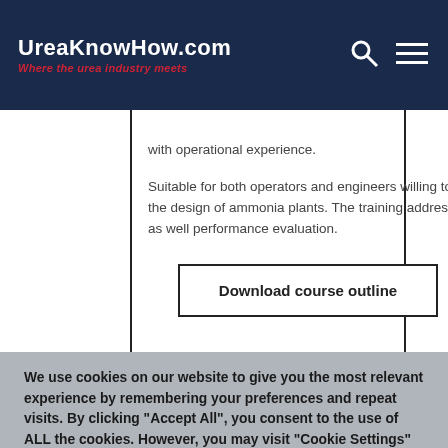UreaKnowHow.com – Where the urea industry meets
with operational experience.
Suitable for both operators and engineers willing to go the next step forward and understand the basic theory behind the design of ammonia plants. The training address main ammonia plant units, key equipment design and modelling as well performance evaluation.
Download course outline
We use cookies on our website to give you the most relevant experience by remembering your preferences and repeat visits. By clicking "Accept All", you consent to the use of ALL the cookies. However, you may visit "Cookie Settings" to provide a controlled consent.
Cookie Settings
Accept All